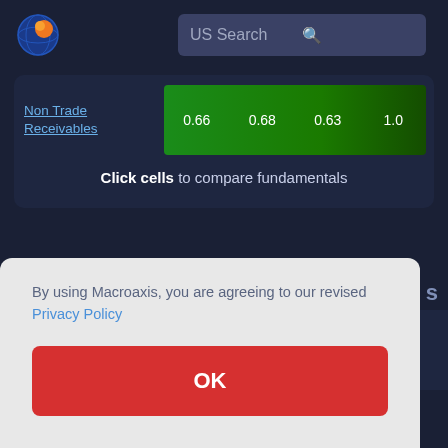[Figure (logo): Macroaxis globe logo with orange and blue colors]
US Search
|  | Col1 | Col2 | Col3 | Col4 |
| --- | --- | --- | --- | --- |
| Non Trade Receivables | 0.66 | 0.68 | 0.63 | 1.0 |
Click cells to compare fundamentals
By using Macroaxis, you are agreeing to our revised Privacy Policy
OK